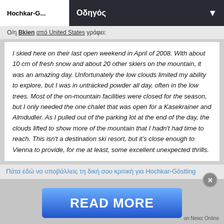Hochkar-G... | Οδηγός
O/η Bkien από United States γράφει:
I skied here on their last open weekend in April of 2008. With about 10 cm of fresh snow and about 20 other skiers on the mountain, it was an amazing day. Unfortunately the low clouds limited my ability to explore, but I was in untracked powder all day, often in the low trees. Most of the on-mountain facilities were closed for the season, but I only needed the one chalet that was open for a Kasekrainer and Almdudler. As I pulled out of the parking lot at the end of the day, the clouds lifted to show more of the mountain that I hadn't had time to reach. This isn't a destination ski resort, but it's close enough to Vienna to provide, for me at least, some excellent unexpected thrills.
Πάτα εδώ να υποβάλλεις τη δική σου κριτική για Hochkar-Göstling
[Figure (other): READ MORE advertisement button with close X button and 'on Newz Online' label]